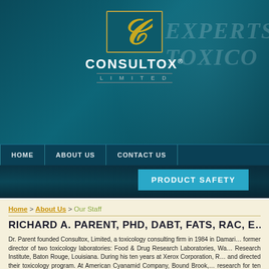[Figure (logo): Consultox Limited logo with stylized gold C on teal background, with CONSULTOX and LIMITED text below]
[Figure (screenshot): Website banner with teal gradient background, face silhouette watermark, and EXPERTS TOXICO text watermark on right]
HOME  ABOUT US  CONTACT US  PRODUCT SAFETY
Home > About Us > Our Staff
RICHARD A. PARENT, PHD, DABT, FATS, RAC, E...
Dr. Parent founded Consultox, Limited, a toxicology consulting firm in 1984 in Damari... former director of two toxicology laboratories: Food & Drug Research Laboratories, Wa... Research Institute, Baton Rouge, Louisiana. During his ten years at Xerox Corporation, R... and directed their toxicology program. At American Cyanamid Company, Bound Brook,... research for ten years in organic chemistry.
Dr. Parent received his doctoral degree in organic chemistry with a minor in analytica... University, New Brunswick, New Jersey. He is currently board certified by the American ... re-certified five times since 1981, is certified by the Academy of Toxicological Sciences s... regulatory affairs by the Regulatory Affairs Certification Board. He holds memberships... societies such as the Society of Toxicology, the European Society of Toxicology (EUR...